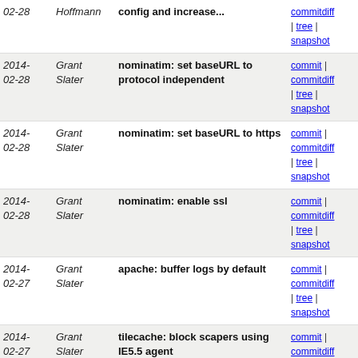| Date | Author | Message | Links |
| --- | --- | --- | --- |
| 2014-02-28 | Hoffmann | config and increase... | commit | commitdiff | tree | snapshot |
| 2014-02-28 | Grant Slater | nominatim: set baseURL to protocol independent | commit | commitdiff | tree | snapshot |
| 2014-02-28 | Grant Slater | nominatim: set baseURL to https | commit | commitdiff | tree | snapshot |
| 2014-02-28 | Grant Slater | nominatim: enable ssl | commit | commitdiff | tree | snapshot |
| 2014-02-27 | Grant Slater | apache: buffer logs by default | commit | commitdiff | tree | snapshot |
| 2014-02-27 | Grant Slater | tilecache: block scapers using IE5.5 agent | commit | commitdiff | tree | snapshot |
| 2014-02-27 | Grant Slater | tilecache: block UA: LoadOSM.exe | commit | commitdiff | tree | snapshot |
| 2014-02-27 | Grant Slater | tilecache: block abusive IE7 agent | commit | commitdiff | tree | snapshot |
| 2014-02-27 | Grant Slater | tilecache: add some silly tilescaper agents | commit | commitdiff | tree | snapshot |
| 2014-02-26 | Grant Slater | supybot: monitor taginfo git | commit | commitdiff | tree | snapshot |
| 2014-02-26 | Grant Slater | supybot: monitor supybot-plugin-osm git | commit | commitdiff |